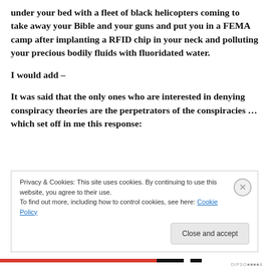under your bed with a fleet of black helicopters coming to take away your Bible and your guns and put you in a FEMA camp after implanting a RFID chip in your neck and polluting your precious bodily fluids with fluoridated water.
I would add –
It was said that the only ones who are interested in denying conspiracy theories are the perpetrators of the conspiracies … which set off in me this response:
Privacy & Cookies: This site uses cookies. By continuing to use this website, you agree to their use.
To find out more, including how to control cookies, see here: Cookie Policy